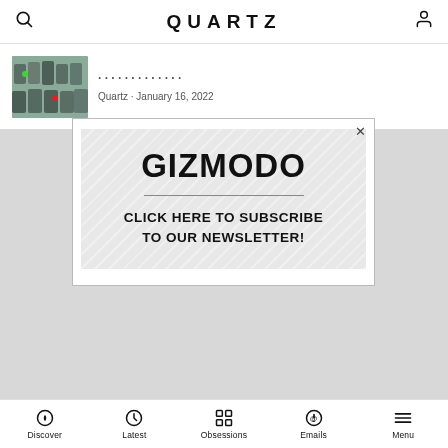QUARTZ
[Figure (photo): Thumbnail of people in a meeting room, some wearing masks, seen from above]
Quartz · January 16, 2022
[Figure (infographic): Gizmodo advertisement modal with text: GIZMODO — CLICK HERE TO SUBSCRIBE TO OUR NEWSLETTER!]
Discover  Latest  Obsessions  Emails  Menu